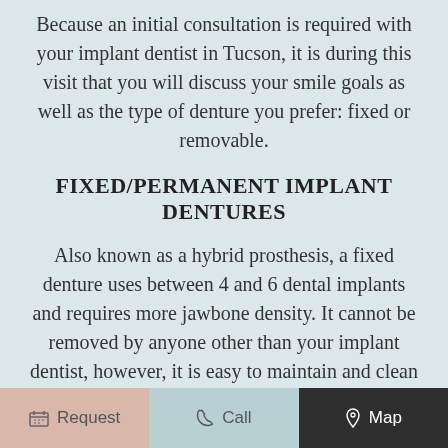Because an initial consultation is required with your implant dentist in Tucson, it is during this visit that you will discuss your smile goals as well as the type of denture you prefer: fixed or removable.
FIXED/PERMANENT IMPLANT DENTURES
Also known as a hybrid prosthesis, a fixed denture uses between 4 and 6 dental implants and requires more jawbone density. It cannot be removed by anyone other than your implant dentist, however, it is easy to maintain and clean as well as ensure a natural, seamless appearance.
Request  Call  Map